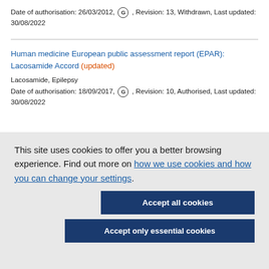Date of authorisation: 26/03/2012, G , Revision: 13, Withdrawn, Last updated: 30/08/2022
Human medicine European public assessment report (EPAR): Lacosamide Accord (updated)
Lacosamide, Epilepsy
Date of authorisation: 18/09/2017, G , Revision: 10, Authorised, Last updated: 30/08/2022
This site uses cookies to offer you a better browsing experience. Find out more on how we use cookies and how you can change your settings.
Accept all cookies
Accept only essential cookies